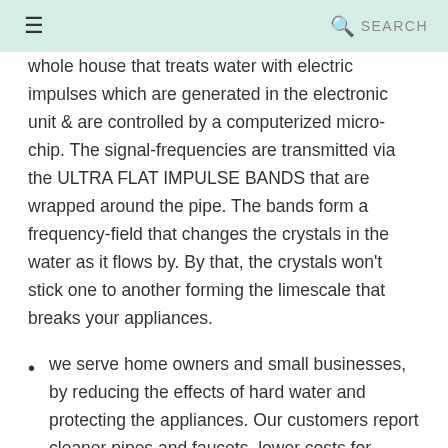≡  🔍 SEARCH
whole house that treats water with electric impulses which are generated in the electronic unit & are controlled by a computerized micro-chip. The signal-frequencies are transmitted via the ULTRA FLAT IMPULSE BANDS that are wrapped around the pipe. The bands form a frequency-field that changes the crystals in the water as it flows by. By that, the crystals won't stick one to another forming the limescale that breaks your appliances.
we serve home owners and small businesses, by reducing the effects of hard water and protecting the appliances. Our customers report cleaner pipes and faucets, lower costs for DESCALING, heating and better overall water. Depending on the condition